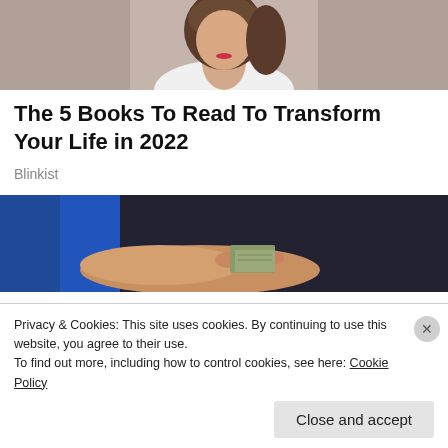[Figure (photo): Cropped photo of a woman with dark hair wearing a white top, photographed against a grey background, showing from shoulders upward.]
The 5 Books To Read To Transform Your Life in 2022
Blinkist
[Figure (photo): Photo of a hand in a blue sleeve holding money/cash against a dark background.]
Privacy & Cookies: This site uses cookies. By continuing to use this website, you agree to their use.
To find out more, including how to control cookies, see here: Cookie Policy
Close and accept